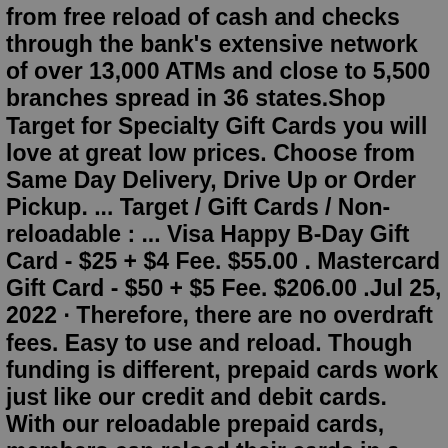from free reload of cash and checks through the bank's extensive network of over 13,000 ATMs and close to 5,500 branches spread in 36 states.Shop Target for Specialty Gift Cards you will love at great low prices. Choose from Same Day Delivery, Drive Up or Order Pickup. ... Target / Gift Cards / Non-reloadable : ... Visa Happy B-Day Gift Card - $25 + $4 Fee. $55.00 . Mastercard Gift Card - $50 + $5 Fee. $206.00 .Jul 25, 2022 · Therefore, there are no overdraft fees. Easy to use and reload. Though funding is different, prepaid cards work just like our credit and debit cards. With our reloadable prepaid cards, members can reload their cards in a variety of ways, including online, by mobile app and in-person. (Gift cards are not reloadable.) Secure alternative form of ... Check your remaining balance or activate an unused Discover Gift Card. You can also call us at 1-866-522-7026. Green Dot Reloadable Prepaid Visa Pros & Cons. The Good. The Bad. Free in-network ATM withdrawal. There is no fee for loading your card. Earn up to $100 cash back annually. Free direct